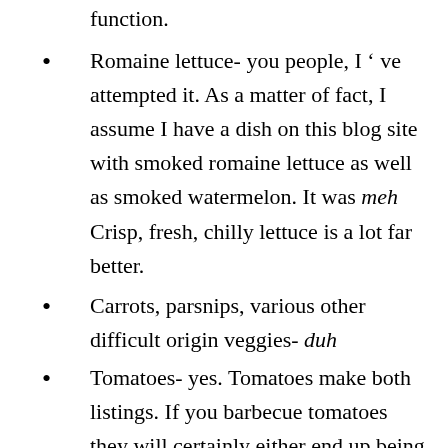function.
Romaine lettuce- you people, I ' ve attempted it. As a matter of fact, I assume I have a dish on this blog site with smoked romaine lettuce as well as smoked watermelon. It was meh Crisp, fresh, chilly lettuce is a lot far better.
Carrots, parsnips, various other difficult origin veggies- duh
Tomatoes- yes. Tomatoes make both listings. If you barbecue tomatoes they will certainly either end up being one of the